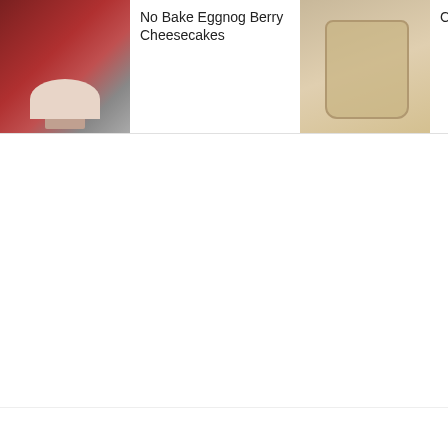[Figure (screenshot): Website screenshot showing recipe cards in a horizontal strip at the top. Three recipe cards visible: 'No Bake Eggnog Berry Cheesecakes' with cheesecake image, 'Creamy Eggnog Recipe' with mason jar image, and 'The BEST P...ancakes a...easy to ma...' with pancake stack image and a search icon overlay. Below the strip is a white content area with a partially visible photo on the left edge. On the right side: '307' counter in red, a white circular heart/favorite button, and a dark red circular search button.]